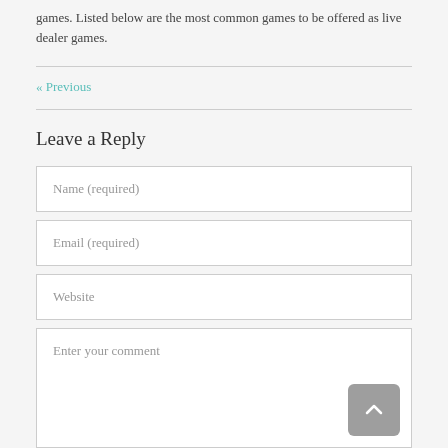games. Listed below are the most common games to be offered as live dealer games.
« Previous
Leave a Reply
Name (required)
Email (required)
Website
Enter your comment